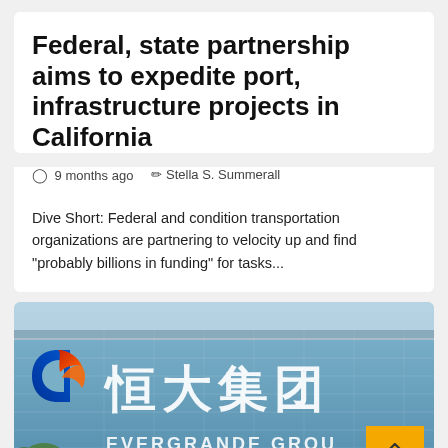Federal, state partnership aims to expedite port, infrastructure projects in California
9 months ago   Stella S. Summerall
Dive Short: Federal and condition transportation organizations are partnering to velocity up and find "probably billions in funding" for tasks...
[Figure (photo): Photograph of Evergrande Group building facade with large Chinese characters 恒大集团 and EVERGRANDE GROUP lettering, with company logo visible on left side]